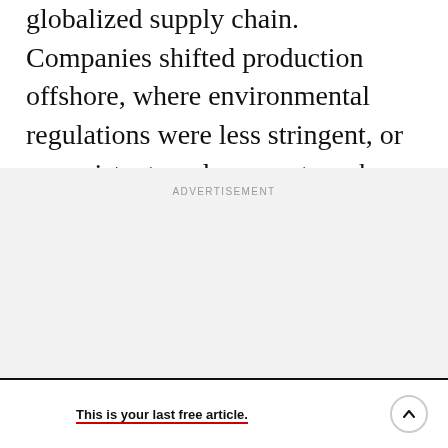globalized supply chain. Companies shifted production offshore, where environmental regulations were less stringent, or nonexistent, and garment workers sometimes earned 20 times less than in the U.S. Clothing got massively cheaper.
ADVERTISEMENT
This is your last free article.